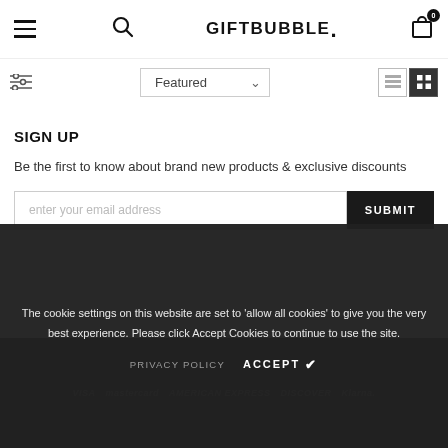GIFTBUBBLE. navigation header with hamburger menu, search, logo, and cart icon
Featured (sort dropdown) with filter icon and view toggle icons
SIGN UP
Be the first to know about brand new products & exclusive discounts
enter your email address
SUBMIT
The cookie settings on this website are set to 'allow all cookies' to give you the very best experience. Please click Accept Cookies to continue to use the site.
PRIVACY POLICY   ACCEPT ✔